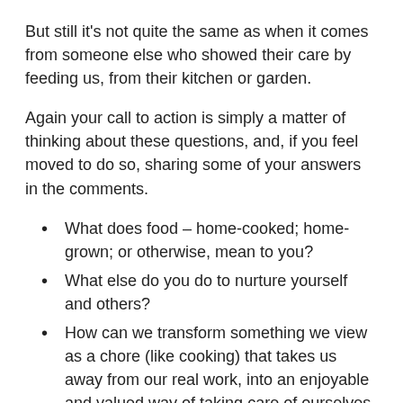But still it's not quite the same as when it comes from someone else who showed their care by feeding us, from their kitchen or garden.
Again your call to action is simply a matter of thinking about these questions, and, if you feel moved to do so, sharing some of your answers in the comments.
What does food – home-cooked; home-grown; or otherwise, mean to you?
What else do you do to nurture yourself and others?
How can we transform something we view as a chore (like cooking) that takes us away from our real work, into an enjoyable and valued way of taking care of ourselves and others?
And for those of us who don't excel in the domestic arts that make life better, let's pay extra attention to showing appreciation for those who